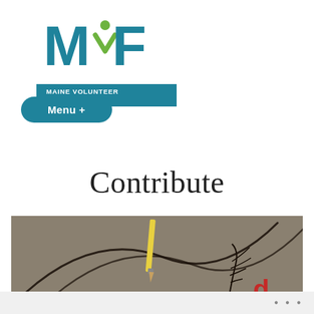[Figure (logo): Maine Volunteer Foundation logo - MVF letters in teal and green with a stylized person figure, and 'MAINE VOLUNTEER FOUNDATION' banner below]
Menu +
Contribute
[Figure (photo): Close-up photo showing what appears to be a pencil or brush over a drawing with dark curved lines on a tan/brown background]
•••